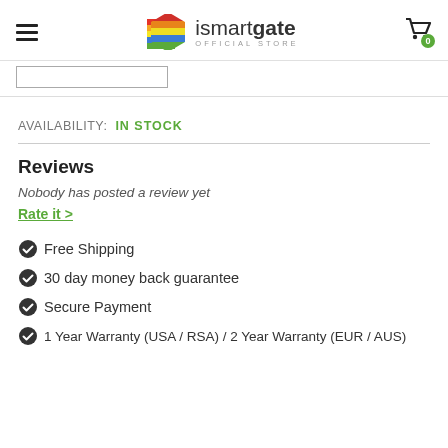ismartgate OFFICIAL STORE
AVAILABILITY:  IN STOCK
Reviews
Nobody has posted a review yet
Rate it >
Free Shipping
30 day money back guarantee
Secure Payment
1 Year Warranty (USA / RSA) / 2 Year Warranty (EUR / AUS)